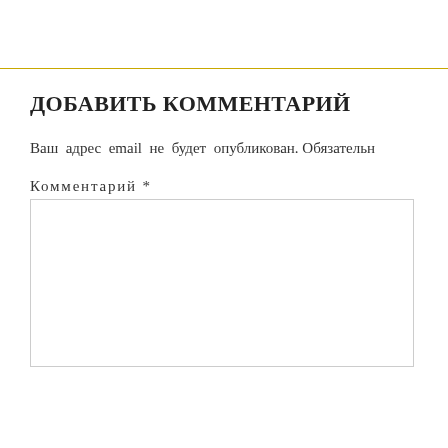ДОБАВИТЬ КОММЕНТАРИЙ
Ваш адрес email не будет опубликован. Обязательн
Комментарий *